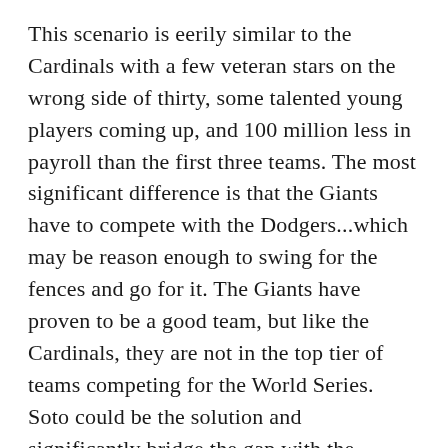This scenario is eerily similar to the Cardinals with a few veteran stars on the wrong side of thirty, some talented young players coming up, and 100 million less in payroll than the first three teams. The most significant difference is that the Giants have to compete with the Dodgers...which may be reason enough to swing for the fences and go for it. The Giants have proven to be a good team, but like the Cardinals, they are not in the top tier of teams competing for the World Series. Soto could be the solution and significantly bridge the gap with the Dodgers. My biggest concern for a trade would be that the Giants would most likely have to give up a critical piece that is crucial for success in the present, such as pitcher Logan Webb. But overall, the Giants are also an attractive landing spot for Soto.